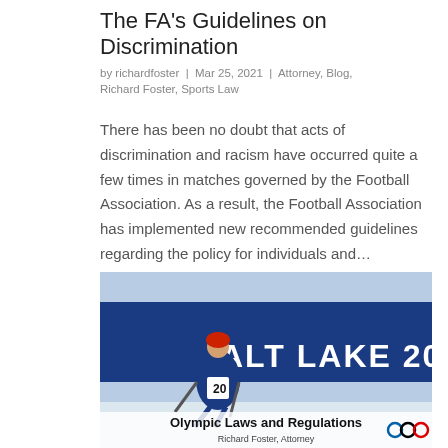The FA's Guidelines on Discrimination
by richardfoster | Mar 25, 2021 | Attorney, Blog, Richard Foster, Sports Law
There has been no doubt that acts of discrimination and racism have occurred quite a few times in matches governed by the Football Association. As a result, the Football Association has implemented new recommended guidelines regarding the policy for individuals and...
[Figure (photo): A cross-country skier wearing bib number 20 at the Salt Lake 2002 Winter Olympics, with blue Olympic banners reading 'ALT LAKE 2002' in the background. The image has an overlay caption reading 'Olympic Laws and Regulations' and 'Richard Foster, Attorney'.]